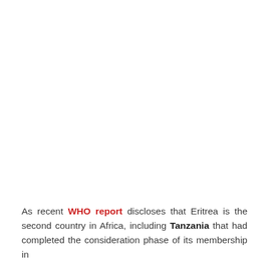As recent WHO report discloses that Eritrea is the second country in Africa, including Tanzania that had completed the consideration phase of its membership in